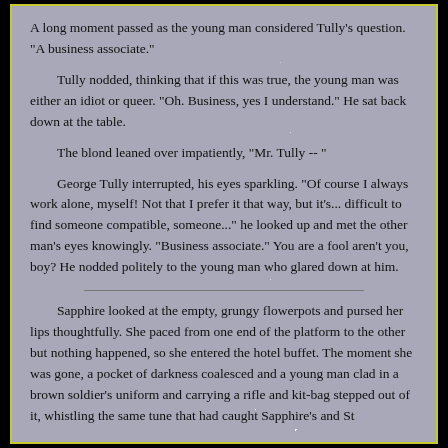A long moment passed as the young man considered Tully's question. "A business associate."
Tully nodded, thinking that if this was true, the young man was either an idiot or queer. "Oh. Business, yes I understand." He sat back down at the table.
The blond leaned over impatiently, "Mr. Tully -- "
George Tully interrupted, his eyes sparkling. "Of course I always work alone, myself! Not that I prefer it that way, but it's... difficult to find someone compatible, someone..." he looked up and met the other man's eyes knowingly. "Business associate." You are a fool aren't you, boy? He nodded politely to the young man who glared down at him.
Sapphire looked at the empty, grungy flowerpots and pursed her lips thoughtfully. She paced from one end of the platform to the other but nothing happened, so she entered the hotel buffet. The moment she was gone, a pocket of darkness coalesced and a young man clad in a brown soldier's uniform and carrying a rifle and kit-bag stepped out of it, whistling the same tune that had caught Sapphire's and Stalley attention earlier.